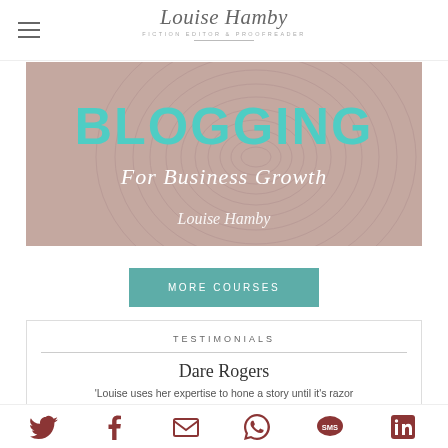Louise Hamby — Fiction Editor & Proofreader
[Figure (illustration): Banner image for 'Blogging for Business Growth' course by Louise Hamby. Mauve/dusty pink background with fingerprint swirl pattern. 'BLOGGING' in large teal/turquoise uppercase letters, 'For Business Growth' in white italic script below, and 'Louise Hamby' in white italic script at the bottom.]
MORE COURSES
TESTIMONIALS
Dare Rogers
'Louise uses her expertise to hone a story until it's razor
Social icons: Twitter, Facebook, Email, WhatsApp, SMS, LinkedIn